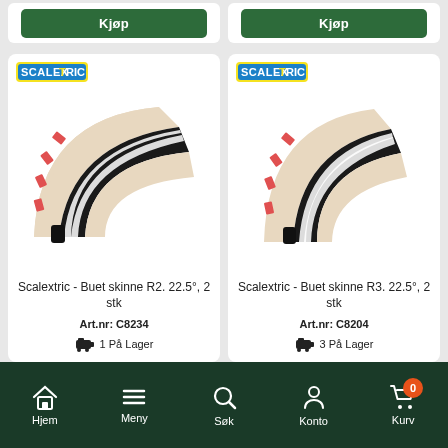[Figure (screenshot): Two Kjøp (Buy) green buttons at top of screen in white card containers]
[Figure (photo): Scalextric curved track product image R2, with logo]
Scalextric - Buet skinne R2. 22.5°, 2 stk
Art.nr: C8234
1 På Lager
[Figure (photo): Scalextric curved track product image R3, with logo]
Scalextric - Buet skinne R3. 22.5°, 2 stk
Art.nr: C8204
3 På Lager
Hjem  Meny  Søk  Konto  Kurv